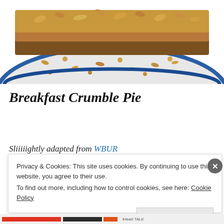[Figure (photo): Close-up photo of a breakfast crumble pie slice on a white plate with blue rim, showing oat and nut crumble topping]
Breakfast Crumble Pie
Sliiiiightly adapted from WBUR
Privacy & Cookies: This site uses cookies. By continuing to use this website, you agree to their use.
To find out more, including how to control cookies, see here: Cookie Policy
Close and accept